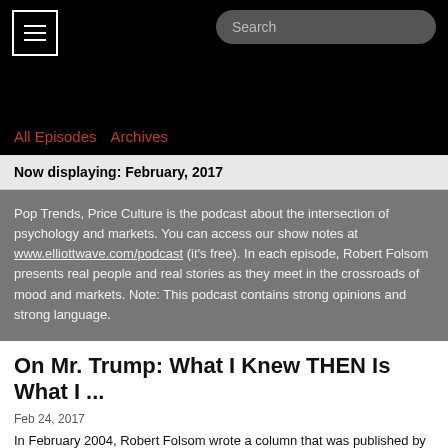[Figure (screenshot): Black header bar with hamburger menu icon (white bordered square with three horizontal lines) on the left and a search input field on the right]
All Episodes   Archives
Now displaying: February, 2017
Pop Trends, Price Culture is the podcast about the intersection of psychology and markets. You can access our show notes at www.elliottwave.com/podcast (it's free). In each episode, Robert Folsom presents real people and real stories as they meet in the crossroads of mood and markets. Note: This podcast contains strong opinions and strong language.
On Mr. Trump: What I Knew THEN Is What I ...
Feb 24, 2017
In February 2004, Robert Folsom wrote a column that was published by a